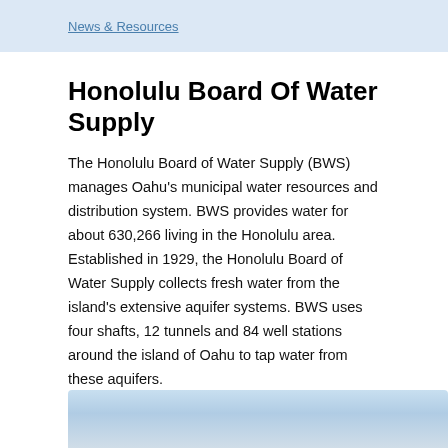News & Resources
Honolulu Board Of Water Supply
The Honolulu Board of Water Supply (BWS) manages Oahu's municipal water resources and distribution system. BWS provides water for about 630,266 living in the Honolulu area. Established in 1929, the Honolulu Board of Water Supply collects fresh water from the island's extensive aquifer systems. BWS uses four shafts, 12 tunnels and 84 well stations around the island of Oahu to tap water from these aquifers.
[Figure (photo): Sky photo showing blue sky with light clouds, likely a view over Oahu/Hawaii]